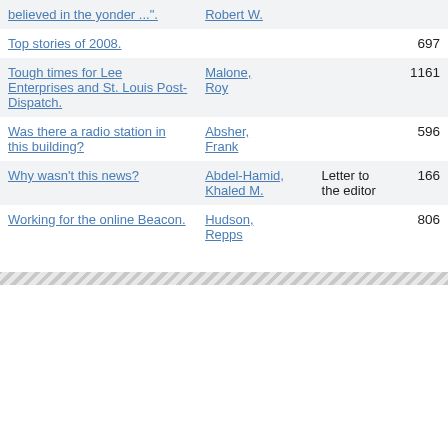| Title | Author | Type | Views |
| --- | --- | --- | --- |
| believed in the yonder ...". | Robert W. |  |  |
| Top stories of 2008. |  |  | 697 |
| Tough times for Lee Enterprises and St. Louis Post-Dispatch. | Malone, Roy |  | 1161 |
| Was there a radio station in this building? | Absher, Frank |  | 596 |
| Why wasn't this news? | Abdel-Hamid, Khaled M. | Letter to the editor | 166 |
| Working for the online Beacon. | Hudson, Repps |  | 806 |